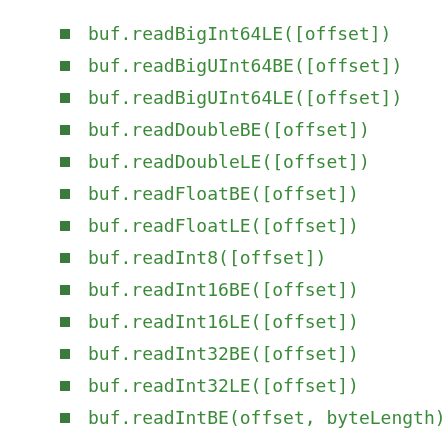buf.readBigInt64LE([offset])
buf.readBigUInt64BE([offset])
buf.readBigUInt64LE([offset])
buf.readDoubleBE([offset])
buf.readDoubleLE([offset])
buf.readFloatBE([offset])
buf.readFloatLE([offset])
buf.readInt8([offset])
buf.readInt16BE([offset])
buf.readInt16LE([offset])
buf.readInt32BE([offset])
buf.readInt32LE([offset])
buf.readIntBE(offset, byteLength)